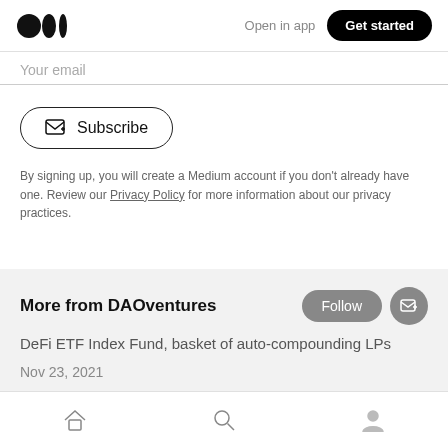Open in app  Get started
Your email
Subscribe
By signing up, you will create a Medium account if you don't already have one. Review our Privacy Policy for more information about our privacy practices.
More from DAOventures
DeFi ETF Index Fund, basket of auto-compounding LPs
Nov 23, 2021
Home  Search  Profile